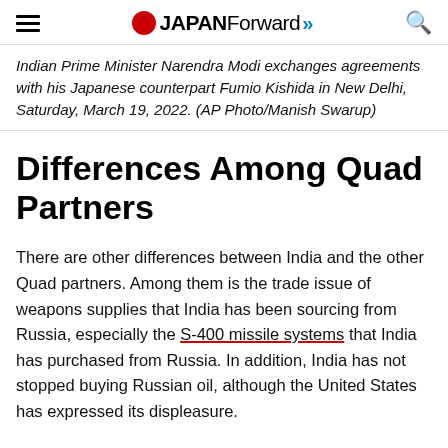JAPAN Forward
Indian Prime Minister Narendra Modi exchanges agreements with his Japanese counterpart Fumio Kishida in New Delhi, Saturday, March 19, 2022. (AP Photo/Manish Swarup)
Differences Among Quad Partners
There are other differences between India and the other Quad partners. Among them is the trade issue of weapons supplies that India has been sourcing from Russia, especially the S-400 missile systems that India has purchased from Russia. In addition, India has not stopped buying Russian oil, although the United States has expressed its displeasure.